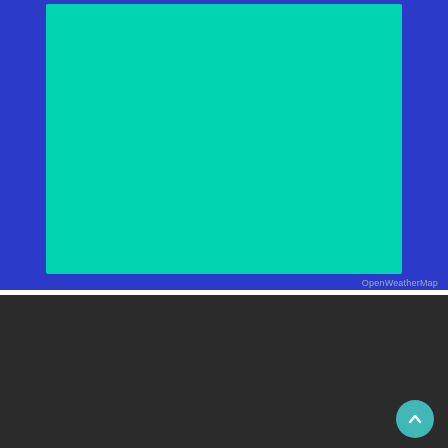[Figure (map): OpenWeatherMap tile — solid teal/turquoise colored map panel on a blue background]
OpenWeatherMap
© 2017 Johan's Beach & Dive Resort. All Rights Reserved.
Web Development
[Figure (logo): LogicGateOne Corporation logo — red diamond/rhombus shape with dark center, next to text LOGICGATEONE CORPORATION]